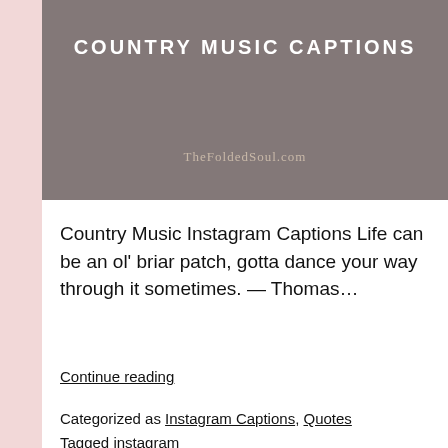[Figure (illustration): Gray banner header image with text 'COUNTRY MUSIC CAPTIONS' in white bold uppercase letters and 'TheFoldedSoul.com' in tan/beige smaller text below]
Country Music Instagram Captions Life can be an ol' briar patch, gotta dance your way through it sometimes. — Thomas…
Continue reading
Categorized as Instagram Captions, Quotes
Tagged instagram